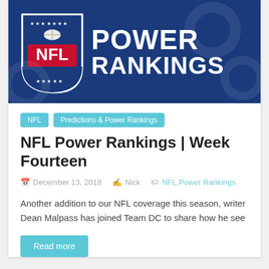[Figure (logo): NFL Power Rankings banner with NFL shield logo on blue background and white bold text reading POWER RANKINGS]
NFL
Predictions & Power Rankings
NFL Power Rankings | Week Fourteen
December 13, 2018   Nick   NFL, Power Rankings
Another addition to our NFL coverage this season, writer Dean Malpass has joined Team DC to share how he see
Read more